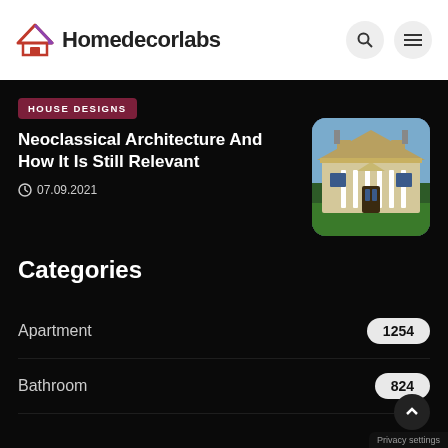Homedecorlabs
HOUSE DESIGNS
Neoclassical Architecture And How It Is Still Relevant
07.09.2021
[Figure (photo): Neoclassical style large house with white columns, dormer windows, and manicured lawn]
Categories
Apartment  1254
Bathroom  824